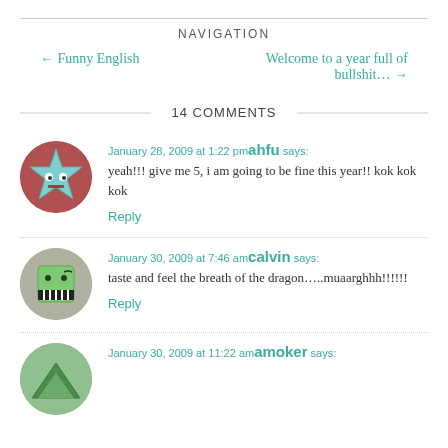NAVIGATION
← Funny English    Welcome to a year full of bullshit… →
14 COMMENTS
January 28, 2009 at 1:22 pm ahfu says:
yeah!!! give me 5, i am going to be fine this year!! kok kok kok
Reply
January 30, 2009 at 7:46 am calvin says:
taste and feel the breath of the dragon…..muaarghhh!!!!!!
Reply
January 30, 2009 at 11:22 am amoker says: